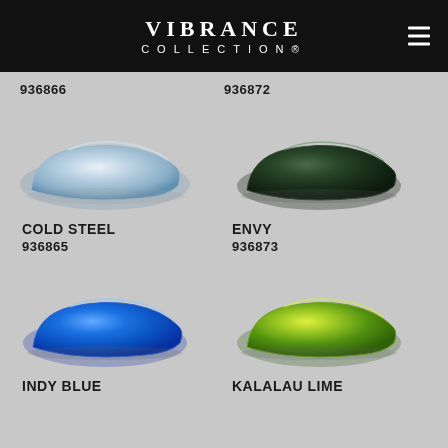[Figure (logo): Vibrance Collection logo on black header bar with hamburger menu icon]
936866
936872
[Figure (photo): Light silver/steel blue metallic car body paint swatch shape]
COLD STEEL
936865
[Figure (photo): Dark green metallic car body paint swatch shape]
ENVY
936873
[Figure (photo): Bright blue metallic car body paint swatch shape]
INDY BLUE
[Figure (photo): Yellow-green lime metallic car body paint swatch shape]
KALALAU LIME